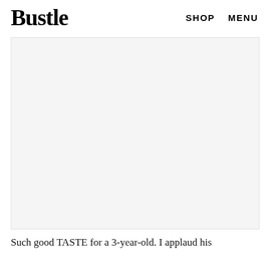Bustle   SHOP   MENU
[Figure (photo): Large image placeholder area, white/light grey background]
Such good TASTE for a 3-year-old. I applaud his